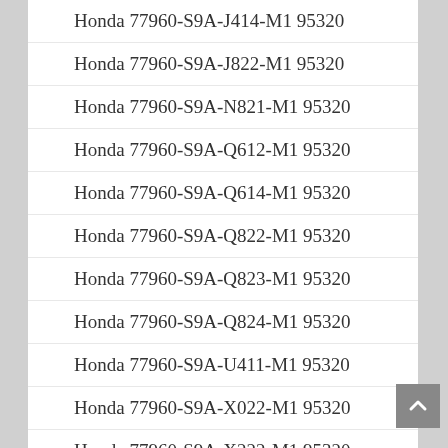Honda 77960-S9A-J414-M1 95320
Honda 77960-S9A-J822-M1 95320
Honda 77960-S9A-N821-M1 95320
Honda 77960-S9A-Q612-M1 95320
Honda 77960-S9A-Q614-M1 95320
Honda 77960-S9A-Q822-M1 95320
Honda 77960-S9A-Q823-M1 95320
Honda 77960-S9A-Q824-M1 95320
Honda 77960-S9A-U411-M1 95320
Honda 77960-S9A-X022-M1 95320
Honda 77960-S9A-X222-M1 95320
Honda 77960-S9A-X812-M1 95320
Honda 77960-S9A-Y614-M1 95320